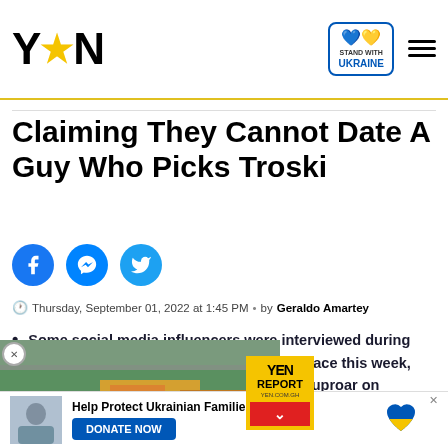YEN logo, Stand with Ukraine badge, hamburger menu
Claiming They Cannot Date A Guy Who Picks Troski
[Figure (other): Social media share icons: Facebook, Messenger, Twitter]
Thursday, September 01, 2022 at 1:45 PM • by Geraldo Amartey
Some social media influencers were interviewed during the Pulse Influencer Hangout, which took place this week, and some of their comments resulted in an uproar on
nalities were asked if they s a troski, and the answers sit well with folks
[Figure (screenshot): Embedded video player showing Accra Beautification Project with YEN Report badge overlay and a red download/collapse button]
[Figure (other): Bottom ad banner: Help Protect Ukrainian Families with photo of people and Donate Now button]